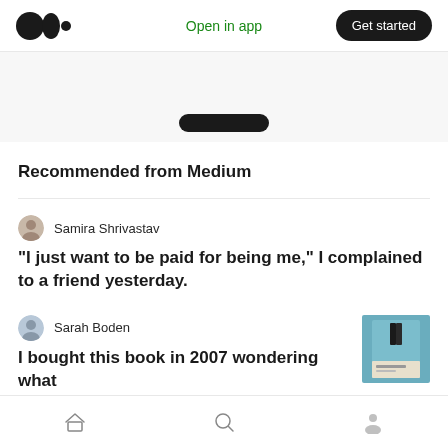Medium logo | Open in app | Get started
Recommended from Medium
Samira Shrivastav
“I just want to be paid for being me,” I complained to a friend yesterday.
Sarah Boden
I bought this book in 2007 wondering what
[Figure (photo): Thumbnail image of a book cover]
Home | Search | Profile navigation icons